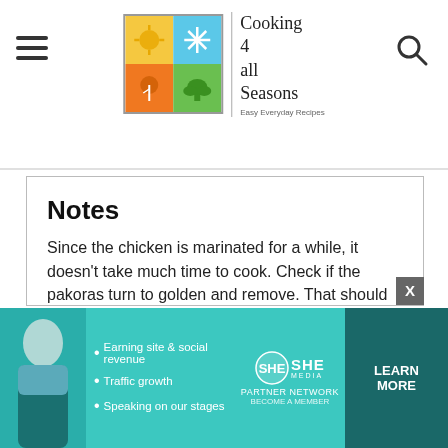Cooking 4 all Seasons - Easy Everyday Recipes
Notes
Since the chicken is marinated for a while, it doesn't take much time to cook. Check if the pakoras turn to golden and remove. That should be enough to get th...
[Figure (screenshot): Video player overlay showing a black video player with play button, progress bar at 13:52, and controls including mute, CC, grid, settings, and fullscreen buttons]
Tried
Mention @coo...